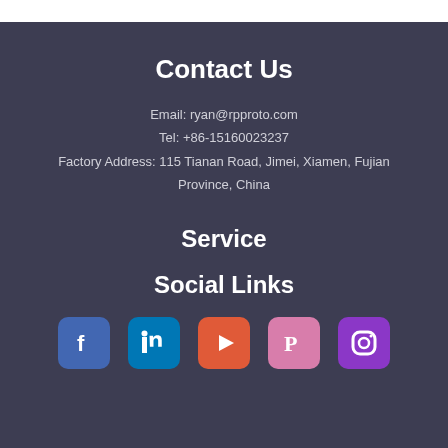Contact Us
Email: ryan@rpproto.com
Tel: +86-15160023237
Factory Address: 115 Tianan Road, Jimei, Xiamen, Fujian Province, China
Service
Social Links
[Figure (infographic): Row of five social media icons: Facebook (blue), LinkedIn (blue), YouTube (orange-red), Pinterest (pink), Instagram (purple)]